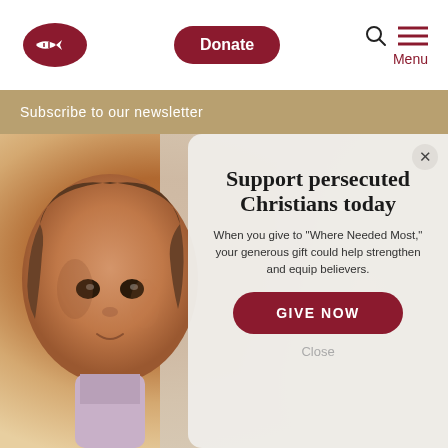[Figure (logo): Open Doors fish/hat logo in dark red]
Donate
[Figure (illustration): Search icon and hamburger menu icon]
Menu
Subscribe to our newsletter
[Figure (photo): Close-up photo of a young girl with brown hair looking at camera]
Support persecuted Christians today
When you give to "Where Needed Most," your generous gift could help strengthen and equip believers.
GIVE NOW
Close